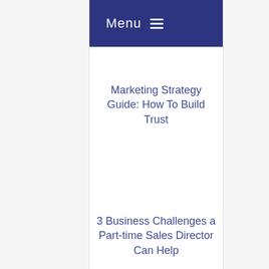Menu ☰
Marketing Strategy Guide: How To Build Trust
3 Business Challenges a Part-time Sales Director Can Help